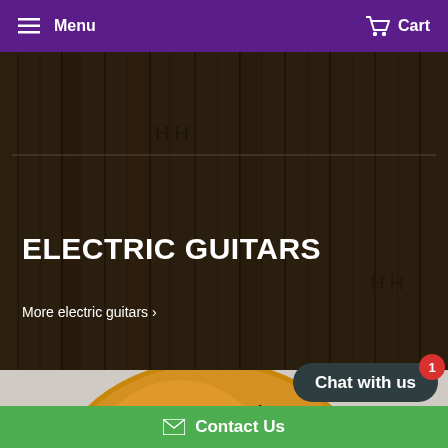Menu   Cart
[Figure (screenshot): Dark wood plank background texture with H-H guitar pickup symbols and a horizontal dividing line]
ELECTRIC GUITARS
More electric guitars ›
[Figure (photo): Bottom portion of an archtop electric guitar body, warm amber/orange finish, visible f-holes, on a light gray background]
Chat with us
Contact Us